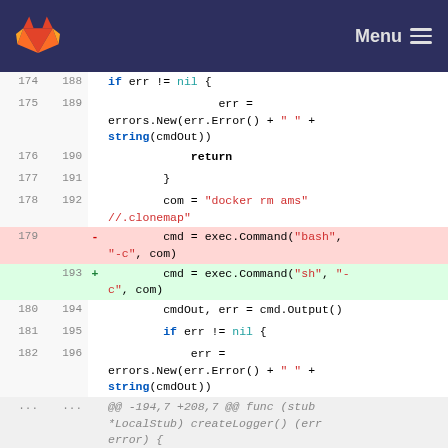GitLab — Menu
[Figure (screenshot): GitLab diff view showing Go source code changes, replacing exec.Command("bash", "-c", com) with exec.Command("sh", "-c", com)]